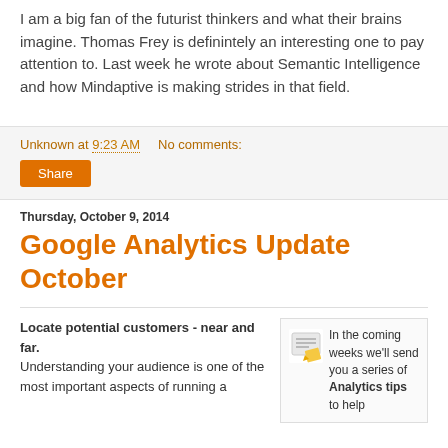I am a big fan of the futurist thinkers and what their brains imagine. Thomas Frey is definintely an interesting one to pay attention to. Last week he wrote about Semantic Intelligence and how Mindaptive is making strides in that field.
Unknown at 9:23 AM   No comments:
Share
Thursday, October 9, 2014
Google Analytics Update October
Locate potential customers - near and far.
Understanding your audience is one of the most important aspects of running a
In the coming weeks we'll send you a series of Analytics tips to help